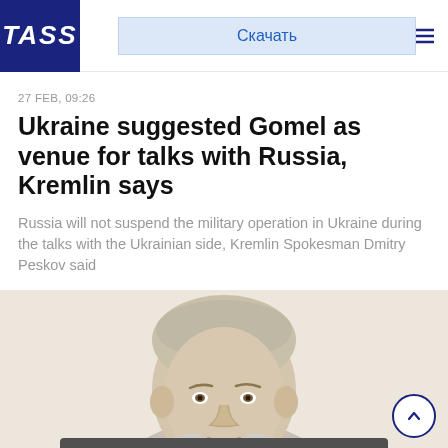TASS
Скачать
27 FEB, 09:26
Ukraine suggested Gomel as venue for talks with Russia, Kremlin says
Russia will not suspend the military operation in Ukraine during the talks with the Ukrainian side, Kremlin Spokesman Dmitry Peskov said
[Figure (photo): Portrait photo of Kremlin Spokesman Dmitry Peskov, a middle-aged man with short grey-blond hair]